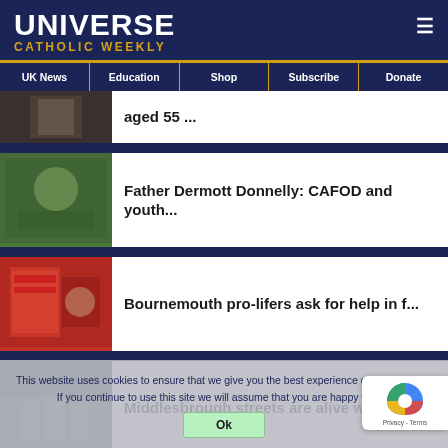UNIVERSE CATHOLIC WEEKLY
UK News
Education
Shop
Subscribe
Donate
aged 55 ...
Father Dermott Donnelly: CAFOD and youth...
Bournemouth pro-lifers ask for help in f...
Middlesbrough streets are alive with the...
This website uses cookies to ensure that we give you the best experience on our website. If you continue to use this site we will assume that you are happy with it.
Ok